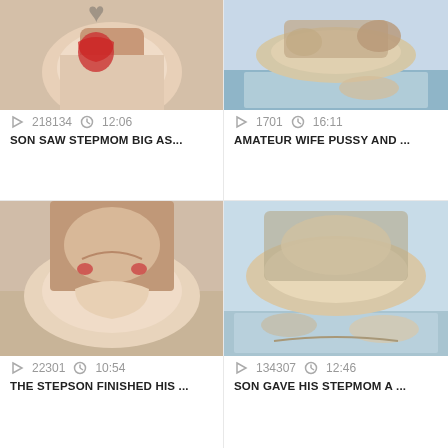[Figure (screenshot): Video thumbnail grid showing adult video content listings with titles, view counts, and durations]
218134   12:06
SON SAW STEPMOM BIG AS...
1701   16:11
AMATEUR WIFE PUSSY AND ...
22301   10:54
THE STEPSON FINISHED HIS ...
134307   12:46
SON GAVE HIS STEPMOM A ...